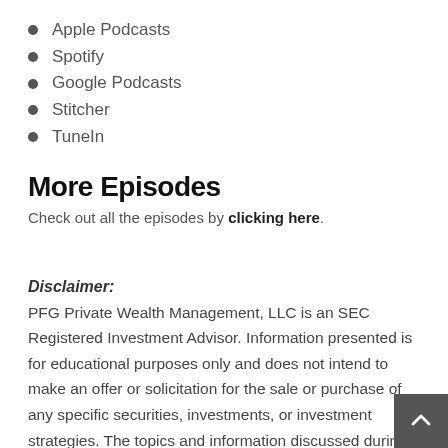Apple Podcasts
Spotify
Google Podcasts
Stitcher
TuneIn
More Episodes
Check out all the episodes by clicking here.
Disclaimer:
PFG Private Wealth Management, LLC is an SEC Registered Investment Advisor. Information presented is for educational purposes only and does not intend to make an offer or solicitation for the sale or purchase of any specific securities, investments, or investment strategies. The topics and information discussed during this podcast are